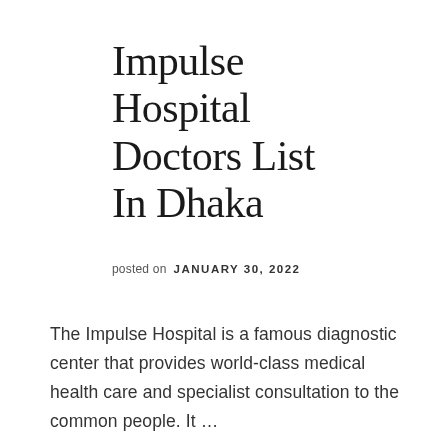Impulse Hospital Doctors List In Dhaka
posted on  JANUARY 30, 2022
The Impulse Hospital is a famous diagnostic center that provides world-class medical health care and specialist consultation to the common people. It …